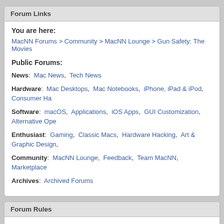Forum Links
You are here:
MacNN Forums > Community > MacNN Lounge > Gun Safety: The Movies
Public Forums:
News: Mac News, Tech News
Hardware: Mac Desktops, Mac Notebooks, iPhone, iPad & iPod, Consumer Ha…
Software: macOS, Applications, iOS Apps, GUI Customization, Alternative Ope…
Enthusiast: Gaming, Classic Macs, Hardware Hacking, Art & Graphic Design, …
Community: MacNN Lounge, Feedback, Team MacNN, Marketplace
Archives: Archived Forums
Forum Rules
You may not post new threads
You may not post replies
You may not post attachments
You may not edit your posts
BB code is On
Smilies are On
[IMG] code is On
HTML code is Off